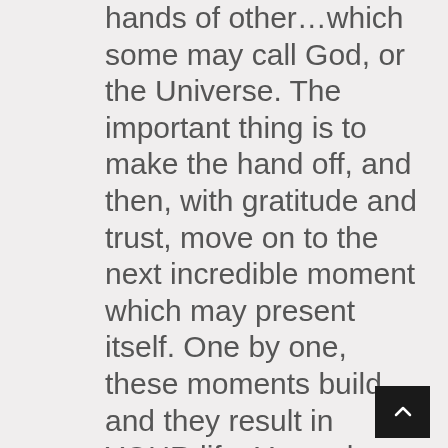hands of other…which some may call God, or the Universe. The important thing is to make the hand off, and then, with gratitude and trust, move on to the next incredible moment which may present itself. One by one, these moments build, and they result in YOUR life. You only get one chance at YOUR life. What does yours look like? Need more support? Let the Resonant Horse build you up! Our next workshop is November 11th, from 9:30-4:30 pm. Join us! The focus is on Gratitude and Grace!